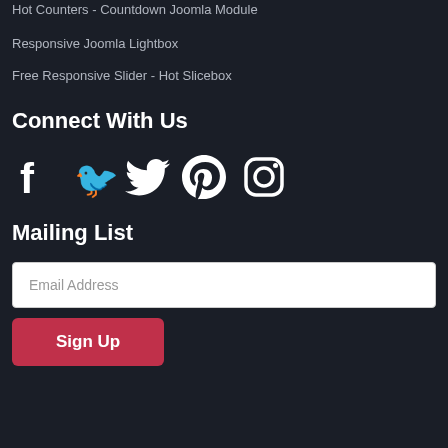Hot Counters - Countdown Joomla Module
Responsive Joomla Lightbox
Free Responsive Slider - Hot Slicebox
Connect With Us
[Figure (infographic): Social media icons: Facebook, Twitter, Pinterest, Instagram]
Mailing List
Email Address
Sign Up